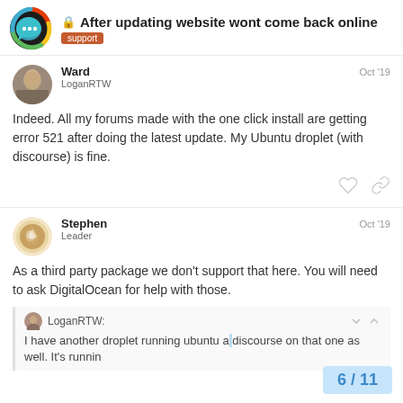After updating website wont come back online — support
Ward LoganRTW Oct '19
Indeed. All my forums made with the one click install are getting error 521 after doing the latest update. My Ubuntu droplet (with discourse) is fine.
Stephen Leader Oct '19
As a third party package we don't support that here. You will need to ask DigitalOcean for help with those.
LoganRTW: I have another droplet running ubuntu a discourse on that one as well. It's runnin
6 / 11